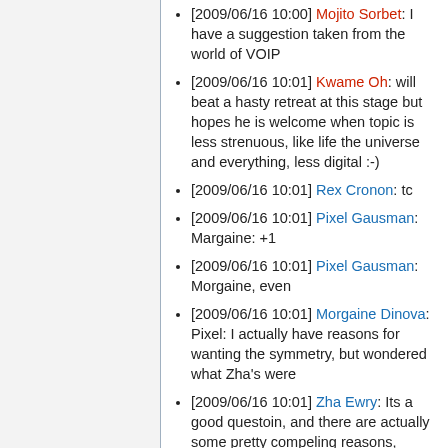[2009/06/16 10:00] Mojito Sorbet: I have a suggestion taken from the world of VOIP
[2009/06/16 10:01] Kwame Oh: will beat a hasty retreat at this stage but hopes he is welcome when topic is less strenuous, like life the universe and everything, less digital :-)
[2009/06/16 10:01] Rex Cronon: tc
[2009/06/16 10:01] Pixel Gausman: Margaine: +1
[2009/06/16 10:01] Pixel Gausman: Morgaine, even
[2009/06/16 10:01] Morgaine Dinova: Pixel: I actually have reasons for wanting the symmetry, but wondered what Zha's were
[2009/06/16 10:01] Zha Ewry: Its a good questoin, and there are actually some pretty compeling reasons,